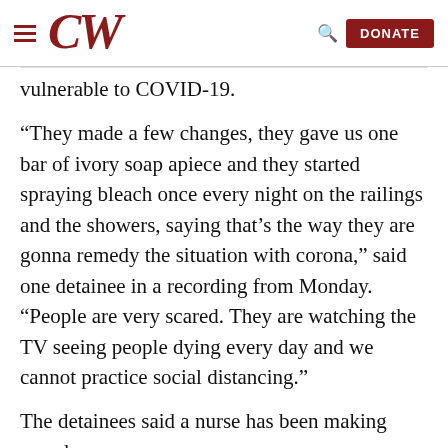CW [logo] | DONATE
vulnerable to COVID-19.
“They made a few changes, they gave us one bar of ivory soap apiece and they started spraying bleach once every night on the railings and the showers, saying that’s the way they are gonna remedy the situation with corona,” said one detainee in a recording from Monday. “People are very scared. They are watching the TV seeing people dying every day and we cannot practice social distancing.”
The detainees said a nurse has been making rounds